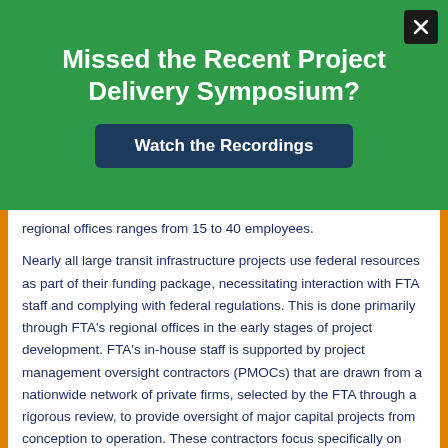Missed the Recent Project Delivery Symposium?
Watch the Recordings
regional offices ranges from 15 to 40 employees.
Nearly all large transit infrastructure projects use federal resources as part of their funding package, necessitating interaction with FTA staff and complying with federal regulations. This is done primarily through FTA’s regional offices in the early stages of project development. FTA’s in-house staff is supported by project management oversight contractors (PMOCs) that are drawn from a nationwide network of private firms, selected by the FTA through a rigorous review, to provide oversight of major capital projects from conception to operation. These contractors focus specifically on project costs, schedules, expenditures, scope, risk, and safety.317 Transit agencies work closely with FTA